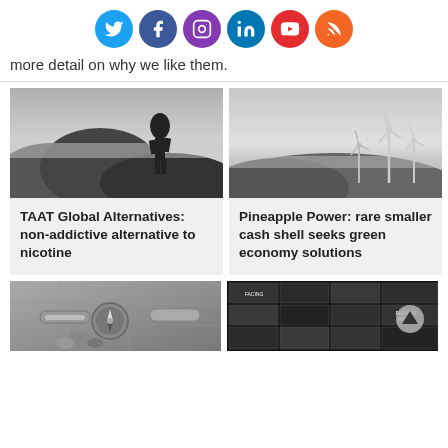[Figure (other): Row of six social media icon circles: Twitter (blue), Facebook (dark blue), Instagram (purple), LinkedIn (blue), YouTube (red), RSS (orange)]
more detail on why we like them.
[Figure (photo): Black and white photo of a person standing on a mountain ridge looking at foggy mountains]
[Figure (photo): Black and white photo of wind turbines on a hillside in misty conditions]
TAAT Global Alternatives: non-addictive alternative to nicotine
Pineapple Power: rare smaller cash shell seeks green economy solutions
[Figure (photo): Black and white photo of a compass and map with some cylindrical objects]
[Figure (photo): Grid of black and white movie/documentary thumbnail images including 'Facing' and 'Richard Pryor' titles, with a circular back-to-top arrow button]